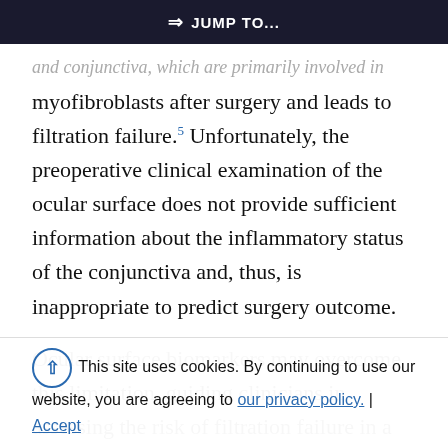⇒ JUMP TO...
and conjunctiva, which are primarily involved in myofibroblasts after surgery and leads to filtration failure.5 Unfortunately, the preoperative clinical examination of the ocular surface does not provide sufficient information about the inflammatory status of the conjunctiva and, thus, is inappropriate to predict surgery outcome.
Ocular surface biomarkers may overcome this limitation, guiding clinicians in assessing the risk of filtration failure in a more accurate way. Conjunctival
gel-forming mucins, such as trefoil factor family 1 (TFF1) and MUC5AC, HLA-DR, goblet cells (GCs), and chrono-inflammatory cells, have been proposed as potential predictive indicators for filtration surgery
This site uses cookies. By continuing to use our website, you are agreeing to our privacy policy.
Accept